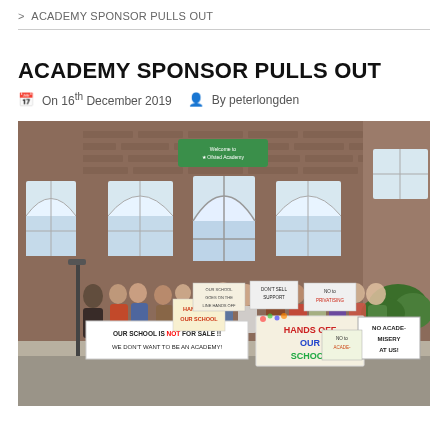> ACADEMY SPONSOR PULLS OUT
ACADEMY SPONSOR PULLS OUT
On 16th December 2019   By peterlongden
[Figure (photo): Group of people standing in front of a brick school building holding protest signs reading 'OUR SCHOOL IS NOT FOR SALE!! WE DON'T WANT TO BE AN ACADEMY!', 'HANDS OFF OUR SCHOOL', 'HANDS OFF OUR SCHOOL', 'NO ACADE- MISERY AT US!', 'NO to ACADE-MISATION', 'DON'T SELL US OUT', 'NO to PRIVATISING EDUCATION', 'OUR SCHOOL GOES ON THE LINE HANDS OFF IT']